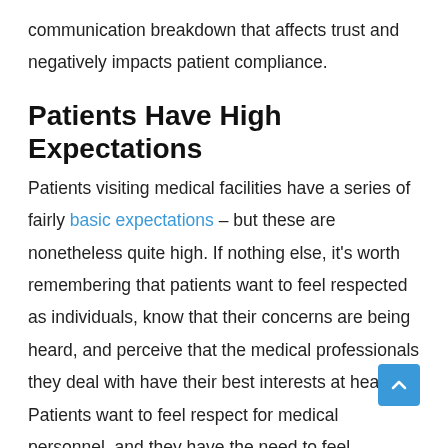communication breakdown that affects trust and negatively impacts patient compliance.
Patients Have High Expectations
Patients visiting medical facilities have a series of fairly basic expectations – but these are nonetheless quite high. If nothing else, it's worth remembering that patients want to feel respected as individuals, know that their concerns are being heard, and perceive that the medical professionals they deal with have their best interests at heart. Patients want to feel respect for medical personnel, and they have the need to feel respected in return. Finding the ideal balance can be more difficult than it may superficially seem, but it